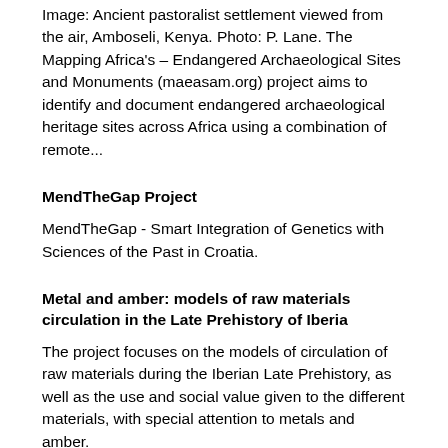Image: Ancient pastoralist settlement viewed from the air, Amboseli, Kenya. Photo: P. Lane. The Mapping Africa's – Endangered Archaeological Sites and Monuments (maeasam.org) project aims to identify and document endangered archaeological heritage sites across Africa using a combination of remote...
MendTheGap Project
MendTheGap - Smart Integration of Genetics with Sciences of the Past in Croatia.
Metal and amber: models of raw materials circulation in the Late Prehistory of Iberia
The project focuses on the models of circulation of raw materials during the Iberian Late Prehistory, as well as the use and social value given to the different materials, with special attention to metals and amber.